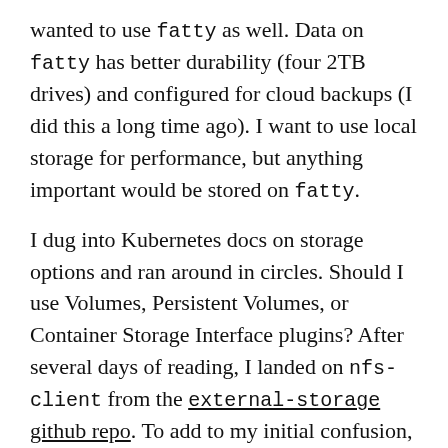wanted to use fatty as well. Data on fatty has better durability (four 2TB drives) and configured for cloud backups (I did this a long time ago). I want to use local storage for performance, but anything important would be stored on fatty.
I dug into Kubernetes docs on storage options and ran around in circles. Should I use Volumes, Persistent Volumes, or Container Storage Interface plugins? After several days of reading, I landed on nfs-client from the external-storage github repo. To add to my initial confusion, external-storage states that the repository is deprecated and that I should use sig-storage-lib-external-provisioner instead. But, on sig-storage-lib-external-provisioner page, it links back to external-storage for examples. Sigh. Luckily, nfs-client worked well and was easy to set up.